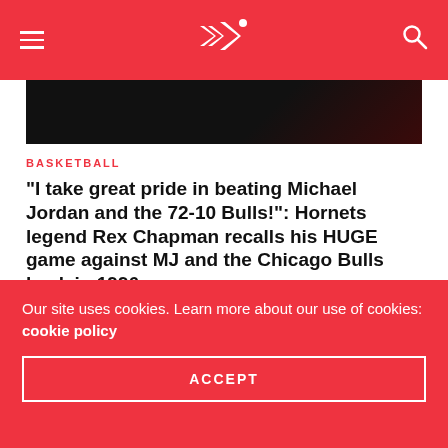Navigation header with logo
[Figure (photo): Dark hero image, nearly black with a dark red gradient]
BASKETBALL
“I take great pride in beating Michael Jordan and the 72-10 Bulls!”: Hornets legend Rex Chapman recalls his HUGE game against MJ and the Chicago Bulls back in 1996
NITHIN JOSEPH – 19/06/2022
There are very few players who get to say they got one over Michael Jordan. In 1996, Rex Chapman was one of them, torching the 72-10 Bulls! The 1990s were completely dominated by Michael Jordan and the Chicago Bulls. Bar…
Our site uses cookies. Learn more about our use of cookies: cookie policy
ACCEPT